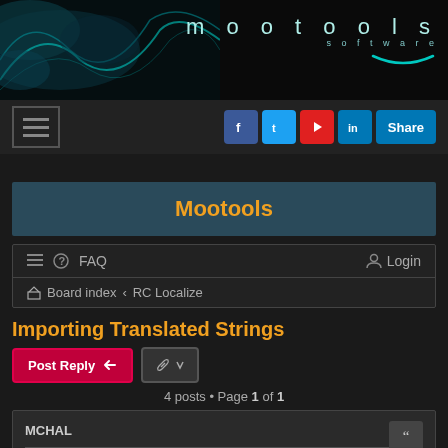[Figure (illustration): Mootools software website banner with dark teal smoke/wave design on left and 'mootools software' logo text on right with a smile graphic]
mootools software
Mootools
FAQ  Login
Board index › RC Localize
Importing Translated Strings
Post Reply  [tools]
4 posts • Page 1 of 1
MCHAL
Importing Translated Strings